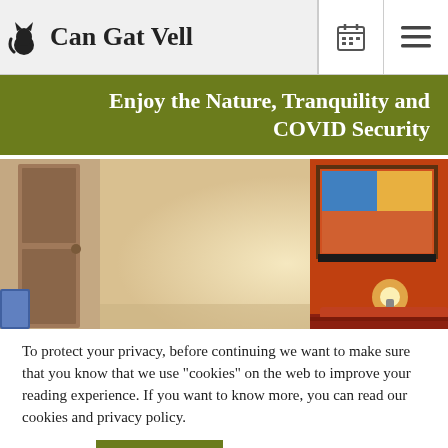Can Gat Vell
Enjoy the Nature, Tranquility and COVID Security
[Figure (photo): Interior room photo showing a wall with warm beige tones, a wooden door on the left, an orange/red accent wall on the right with a framed painting, a lamp, and a bed in the foreground.]
To protect your privacy, before continuing we want to make sure that you know that we use "cookies" on the web to improve your reading experience. If you want to know more, you can read our cookies and privacy policy.
Settings   ACCEPT